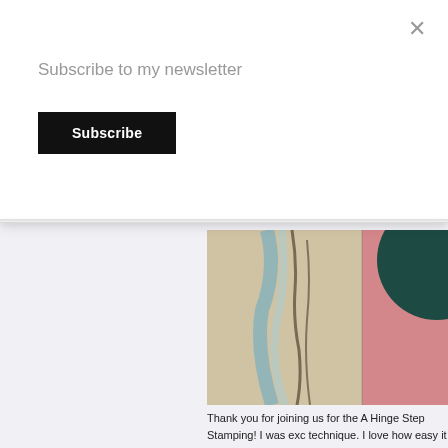Subscribe to my newsletter
Subscribe
×
[Figure (photo): Abstract painting with light blue and tan brushstrokes on the left, and a dark teal circle with pink background on the right]
Thank you for joining us for the A Hinge Step Stamping! I was exc technique. I love how easy it is t see everything lined up and spac
[Figure (photo): Greeting card with dark dotted/spotted paper, pink and light blue borders, and decorative elements on the right side]